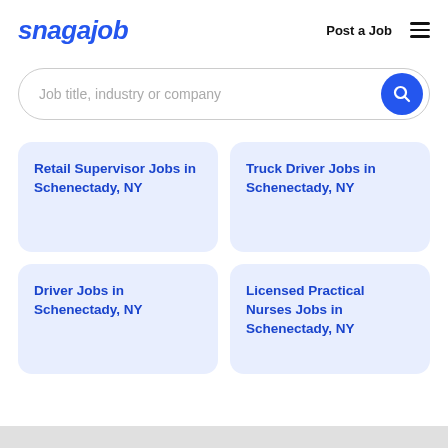snagajob | Post a Job
[Figure (screenshot): Search bar with placeholder text 'Job title, industry or company' and a blue circular search button with magnifying glass icon]
Retail Supervisor Jobs in Schenectady, NY
Truck Driver Jobs in Schenectady, NY
Driver Jobs in Schenectady, NY
Licensed Practical Nurses Jobs in Schenectady, NY